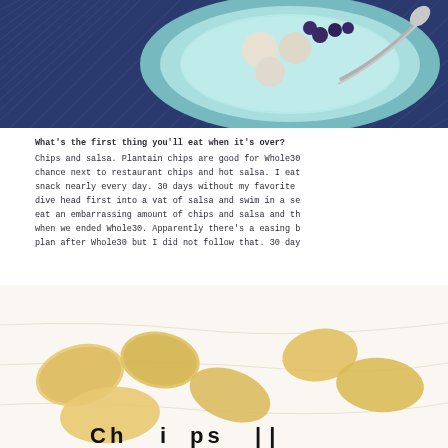[Figure (photo): Overhead view of a light blue bowl containing what appears to be melon balls and blueberries with a spoon, set on a blue herringbone patterned cloth/placemat.]
What's the first thing you'll eat when it's over? Chips and salsa. Plantain chips are good for Whole30 chance next to restaurant chips and hot salsa. I eat snack nearly every day. 30 days without my favorite dive head first into a vat of salsa and swim in a se eat an embarrassing amount of chips and salsa and th when we ended Whole30. Apparently there's a easing b plan after Whole30 but I did not follow that. 30 day
[Figure (photo): Close-up photo of tortilla chips on white paper/wrapper with partially visible bold text at the bottom.]